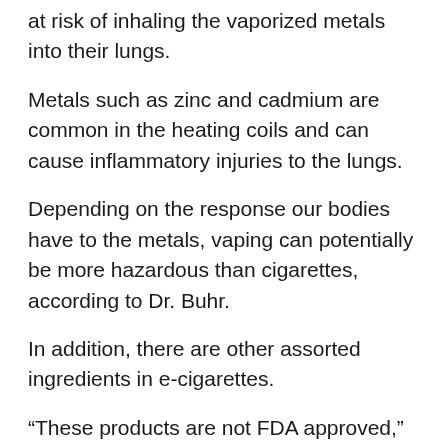at risk of inhaling the vaporized metals into their lungs.
Metals such as zinc and cadmium are common in the heating coils and can cause inflammatory injuries to the lungs.
Depending on the response our bodies have to the metals, vaping can potentially be more hazardous than cigarettes, according to Dr. Buhr.
In addition, there are other assorted ingredients in e-cigarettes.
“These products are not FDA approved,” Dr. Buhr said. “So you don’t really know what’s in the vape solutions a lot of the time. Aside from nicotine and glycol, there are also different types of flavorings. These chemicals can cause lung injuries and irreversible lung damage.”